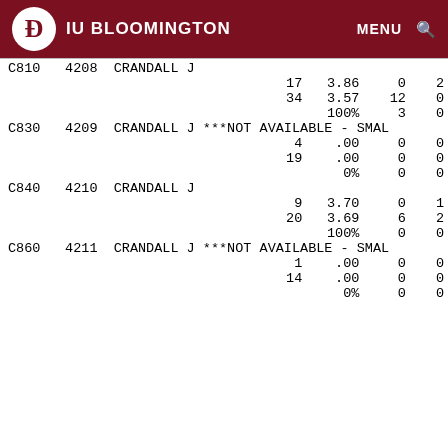IU BLOOMINGTON  MENU  🔍
| C810 | 4208 | CRANDALL J |  |  |  |  |
|  |  |  | 17 | 3.86 | 0 | 2 |
|  |  |  | 34 | 3.57 | 12 | 0 |
|  |  |  |  | 100% | 3 | 0 |
| C830 | 4209 | CRANDALL J | ***NOT AVAILABLE - SMAL |  |  |  |
|  |  |  | 4 | .00 | 0 | 0 |
|  |  |  | 19 | .00 | 0 | 0 |
|  |  |  |  | 0% | 0 | 0 |
| C840 | 4210 | CRANDALL J |  |  |  |  |
|  |  |  | 9 | 3.70 | 0 | 1 |
|  |  |  | 20 | 3.69 | 6 | 2 |
|  |  |  |  | 100% | 0 | 0 |
| C860 | 4211 | CRANDALL J | ***NOT AVAILABLE - SMAL |  |  |  |
|  |  |  | 1 | .00 | 0 | 0 |
|  |  |  | 14 | .00 | 0 | 0 |
|  |  |  |  | 0% | 0 | 0 |